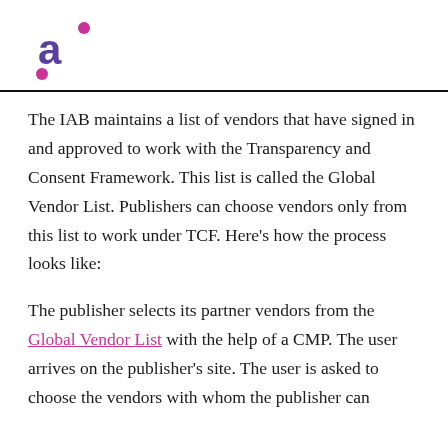a° (logo)
The IAB maintains a list of vendors that have signed in and approved to work with the Transparency and Consent Framework. This list is called the Global Vendor List. Publishers can choose vendors only from this list to work under TCF. Here's how the process looks like:
The publisher selects its partner vendors from the Global Vendor List with the help of a CMP. The user arrives on the publisher's site. The user is asked to choose the vendors with whom the publisher can...